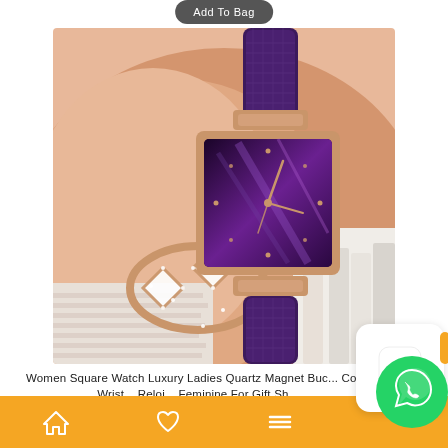Add To Bag
[Figure (photo): A woman's wrist wearing a purple square-face quartz watch with rose gold case and magnetic mesh band, paired with a rose gold diamond-encrusted bangle bracelet.]
Women Square Watch Luxury Ladies Quartz Magnet Buc... Color Wrist... Reloj... Feminine For Gift Sh...
[Figure (other): Bottom navigation bar with home, heart, menu icons on orange background, plus shopping bag icon overlay and WhatsApp icon overlay]